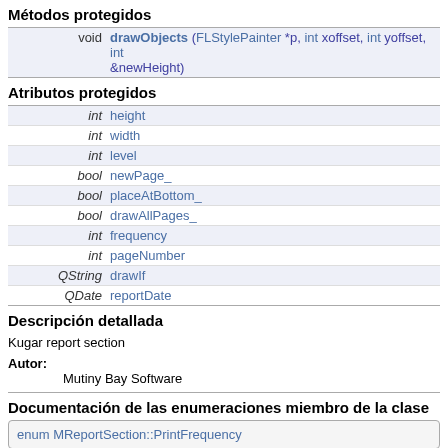Métodos protegidos
| type | name |
| --- | --- |
| void | drawObjects (FLStylePainter *p, int xoffset, int yoffset, int &newHeight) |
Atributos protegidos
| type | name |
| --- | --- |
| int | height |
| int | width |
| int | level |
| bool | newPage_ |
| bool | placeAtBottom_ |
| bool | drawAllPages_ |
| int | frequency |
| int | pageNumber |
| QString | drawIf |
| QDate | reportDate |
Descripción detallada
Kugar report section
Autor:
Mutiny Bay Software
Documentación de las enumeraciones miembro de la clase
enum MReportSection::PrintFrequency